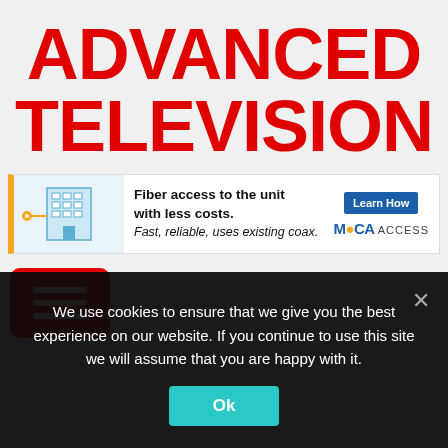ADVANCED TELEVISION
[Figure (infographic): Advertisement banner: illustration of a building with coax cable connections on left, text 'Fiber access to the unit with less costs. Fast, reliable, uses existing coax.' in center, 'Learn How' blue button and 'MoCA ACCESS' logo on right.]
[Figure (other): Red rounded rectangle hamburger menu button with three white horizontal lines]
We use cookies to ensure that we give you the best experience on our website. If you continue to use this site we will assume that you are happy with it.
Ok